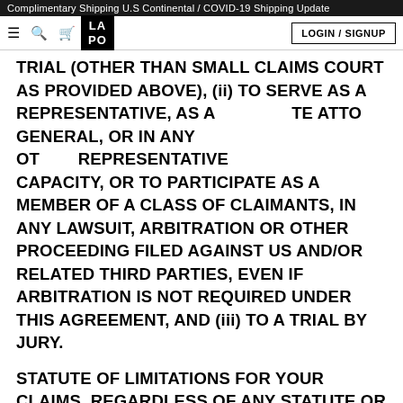Complimentary Shipping U.S Continental / COVID-19 Shipping Update
TRIAL (OTHER THAN SMALL CLAIMS COURT AS PROVIDED ABOVE), (ii) TO SERVE AS A REPRESENTATIVE, AS A [LA PO] [PRIVATE ATTOR] GENERAL, OR IN ANY OTHER REPRESENTATIVE CAPACITY, OR TO PARTICIPATE AS A MEMBER OF A CLASS OF CLAIMANTS, IN ANY LAWSUIT, ARBITRATION OR OTHER PROCEEDING FILED AGAINST US AND/OR RELATED THIRD PARTIES, EVEN IF ARBITRATION IS NOT REQUIRED UNDER THIS AGREEMENT, AND (iii) TO A TRIAL BY JURY.
STATUTE OF LIMITATIONS FOR YOUR CLAIMS. REGARDLESS OF ANY STATUTE OR LAW TO THE CONTRARY, ANY CLAIM OR CAUSE OF ACTION ARISING OUT OF OR RELATED TO USE OF THE SITE, SERVICES, OR THIS AGREEMENT MUST BE